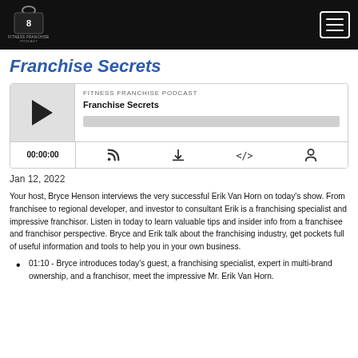Fitness Franchise Podcast
Franchise Secrets
[Figure (screenshot): Podcast player widget for 'Fitness Franchise Podcast - Franchise Secrets' showing play button, progress bar at 00:00:00, and control icons (RSS, download, embed, share)]
Jan 12, 2022
Your host, Bryce Henson interviews the very successful Erik Van Horn on today's show.  From franchisee to regional developer, and investor to consultant Erik is a franchising specialist and impressive franchisor.  Listen in today to learn valuable tips and insider info from a franchisee and franchisor perspective. Bryce and Erik talk about the franchising industry, get pockets full of useful information and tools to help you in your own business.
01:10 - Bryce introduces today's guest, a franchising specialist, expert in multi-brand ownership, and a franchisor, meet the impressive Mr. Erik Van Horn.